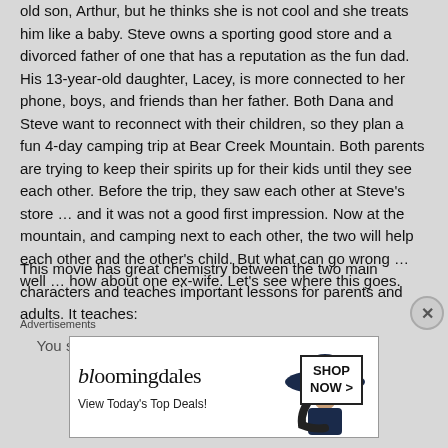old son, Arthur, but he thinks she is not cool and she treats him like a baby. Steve owns a sporting good store and a divorced father of one that has a reputation as the fun dad. His 13-year-old daughter, Lacey, is more connected to her phone, boys, and friends than her father. Both Dana and Steve want to reconnect with their children, so they plan a fun 4-day camping trip at Bear Creek Mountain. Both parents are trying to keep their spirits up for their kids until they see each other. Before the trip, they saw each other at Steve's store … and it was not a good first impression. Now at the mountain, and camping next to each other, the two will help each other and the other's child. But what can go wrong … well … how about one ex-wife. Let's see where this goes.
This movie has great chemistry between the two main characters and teaches important lessons for parents and adults. It teaches:
You shouldn't watch out for all the time...
Advertisements
[Figure (other): Bloomingdales advertisement banner with woman in wide-brim hat and 'Shop Now >' button. Text: bloomingdales, View Today's Top Deals!]